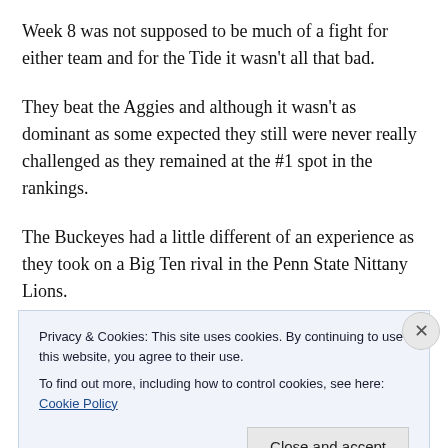Week 8 was not supposed to be much of a fight for either team and for the Tide it wasn't all that bad.
They beat the Aggies and although it wasn't as dominant as some expected they still were never really challenged as they remained at the #1 spot in the rankings.
The Buckeyes had a little different of an experience as they took on a Big Ten rival in the Penn State Nittany Lions.
They were an unranked team that was struggling through
Privacy & Cookies: This site uses cookies. By continuing to use this website, you agree to their use.
To find out more, including how to control cookies, see here: Cookie Policy